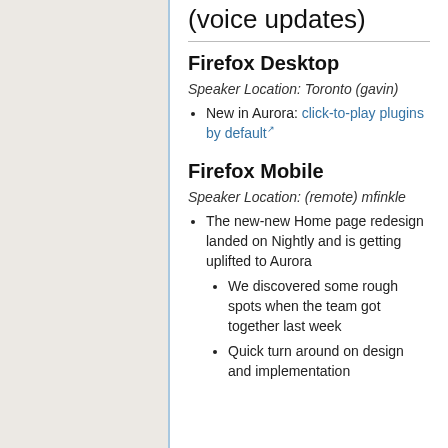(voice updates)
Firefox Desktop
Speaker Location: Toronto (gavin)
New in Aurora: click-to-play plugins by default
Firefox Mobile
Speaker Location: (remote) mfinkle
The new-new Home page redesign landed on Nightly and is getting uplifted to Aurora
We discovered some rough spots when the team got together last week
Quick turn around on design and implementation